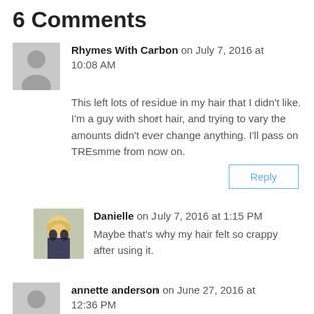6 Comments
Rhymes With Carbon on July 7, 2016 at 10:08 AM
This left lots of residue in my hair that I didn't like. I'm a guy with short hair, and trying to vary the amounts didn't ever change anything. I'll pass on TREsmme from now on.
Danielle on July 7, 2016 at 1:15 PM
Maybe that's why my hair felt so crappy after using it.
annette anderson on June 27, 2016 at 12:36 PM